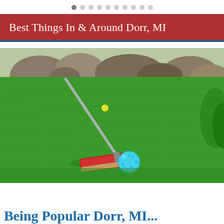● ○ ○ ○ ○ ○ ○ ○ ○ ○
Best Things In & Around Dorr, MI
[Figure (photo): A red mini golf putter resting against a cyan/blue golf ball on bright green artificial turf, with rocks and another yellow ball visible in the background]
Being Popular Dorr, MI...